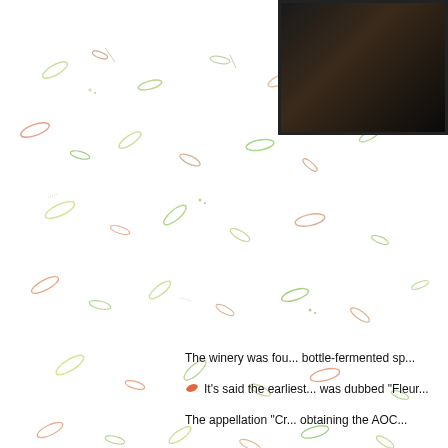[Figure (photo): Dark photograph, partially visible in upper right corner, appears to be a wine bottle or winery interior, framed with black border]
The winery was fou... bottle-fermented sp...
It's said the earliest... was dubbed "Fleur...
The appellation "Cr... obtaining the AOC...